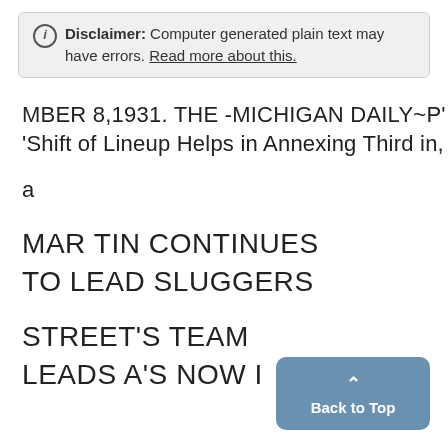Disclaimer: Computer generated plain text may have errors. Read more about this.
MBER 8,1931. THE -MICHIGAN DAILY~P' 'Shift of Lineup Helps in Annexing Third in,
a
MAR TIN CONTINUES TO LEAD SLUGGERS
STREET'S TEAM LEADS A'S NOW I